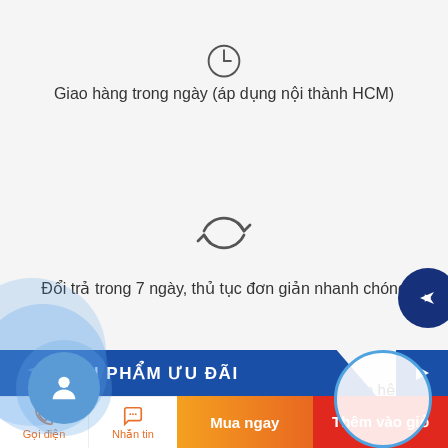[Figure (illustration): Clock/time icon at top, partially visible]
Giao hàng trong ngày (áp dụng nội thành HCM)
[Figure (illustration): Refresh/return circular arrows icon]
Đổi trả trong 7 ngày, thủ tục đơn giản nhanh chóng
[Figure (illustration): Printer icon]
Các sản phẩm chưa có giá xin vui lòng liên hệ
SẢN PHẨM ƯU ĐÃI
Mua ngay
Thêm vào giỏ
Gọi điện
Nhắn tin